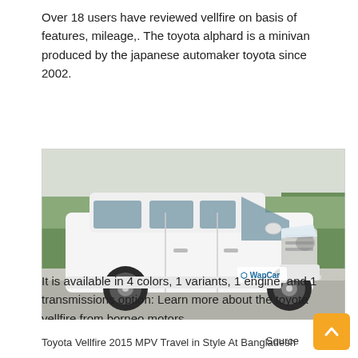Over 18 users have reviewed vellfire on basis of features, mileage,. The toyota alphard is a minivan produced by the japanese automaker toyota since 2002.
[Figure (photo): White Toyota Vellfire/Alphard minivan MPV parked on a road, front three-quarter view, with greenery in the background. WapCar watermark visible on the vehicle.]
Source: www.wapcar.my
It is available in 4 colors, 1 variants, 1 engine, and 1 transmissions option: Learn more about the toyota vellfire from borneo motors.
Toyota Vellfire 2015 MPV Travel in Style At Bangladesh   Source